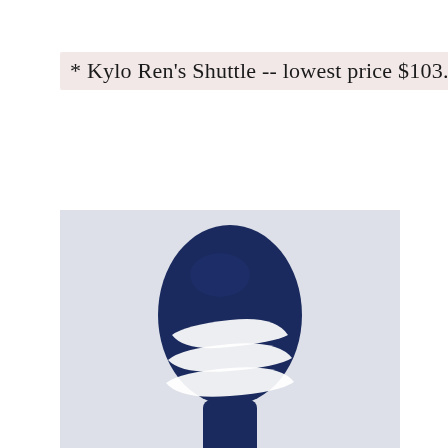* Kylo Ren's Shuttle -- lowest price $103.99
[Figure (photo): Top-down view of an Adidas slide sandal (navy blue with three white stripes) photographed against a light grey background. The toe strap is visible, partially cropped at the bottom of the frame.]